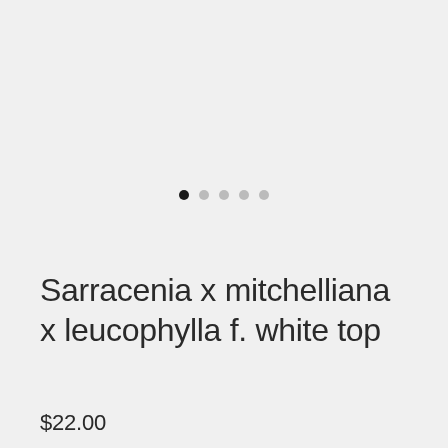[Figure (other): Image carousel navigation dots: 5 dots in a row, first dot is dark/active, remaining four are light grey/inactive]
Sarracenia x mitchelliana x leucophylla f. white top
$22.00